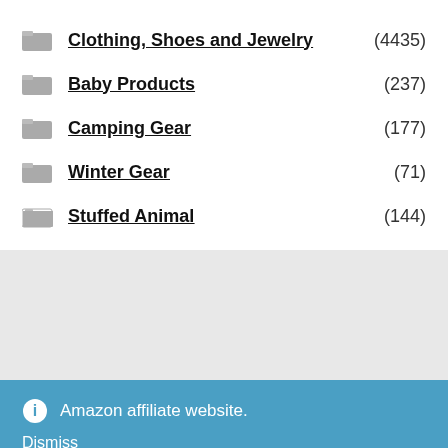Clothing, Shoes and Jewelry (4435)
Baby Products (237)
Camping Gear (177)
Winter Gear (71)
Stuffed Animal (144)
Amazon affiliate website.
Dismiss